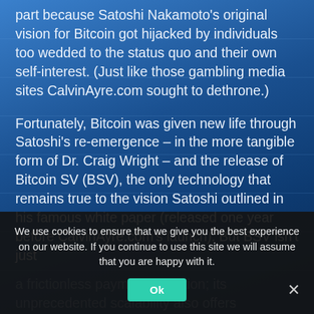part because Satoshi Nakamoto's original vision for Bitcoin got hijacked by individuals too wedded to the status quo and their own self-interest. (Just like those gambling media sites CalvinAyre.com sought to dethrone.)
Fortunately, Bitcoin was given new life through Satoshi's re-emergence – in the more tangible form of Dr. Craig Wright – and the release of Bitcoin SV (BSV), the only technology that remains true to the vision Satoshi outlined in his famous white paper (released one year before CalvinAyre.com's launch). But BSV isn't just a frictionless payments solution; its unprecedented scalability also offers heretofore unimaginable possibilities for data management. BSV also heralds the arrival of the Metanet, Dr. Wright's concept for...
We use cookies to ensure that we give you the best experience on our website. If you continue to use this site we will assume that you are happy with it.